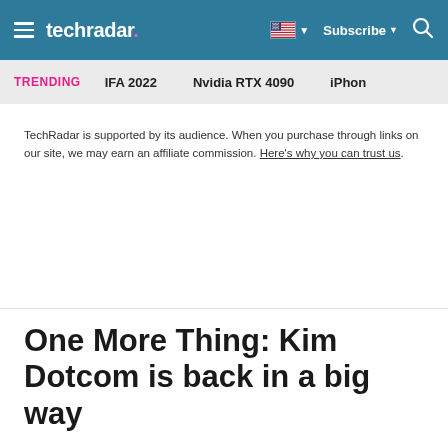techradar — Subscribe
TRENDING   IFA 2022   Nvidia RTX 4090   iPhon
TechRadar is supported by its audience. When you purchase through links on our site, we may earn an affiliate commission. Here's why you can trust us.
One More Thing: Kim Dotcom is back in a big way